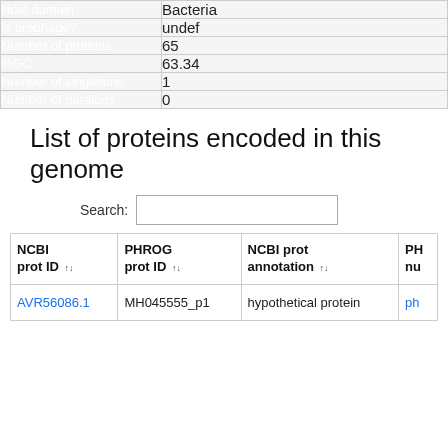| Key | Value |
| --- | --- |
| Host domain | Bacteria |
| Is prophage? | undef |
| Number of proteins | 65 |
| %GC | 63.34 |
| Number of singletons | 1 |
| Number of paralogs | 0 |
List of proteins encoded in this genome
Search:
| NCBI prot ID | PHROG prot ID | NCBI prot annotation | PH nu |
| --- | --- | --- | --- |
| AVR56086.1 | MH045555_p1 | hypothetical protein | ph |